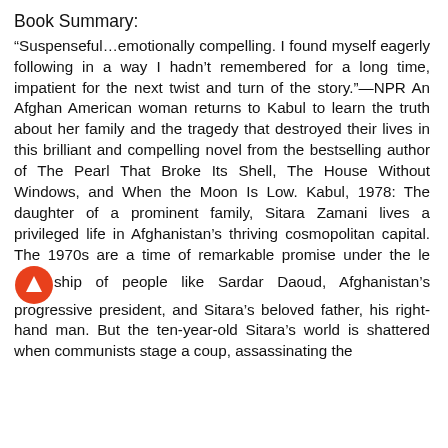Book Summary:
“Suspenseful…emotionally compelling. I found myself eagerly following in a way I hadn’t remembered for a long time, impatient for the next twist and turn of the story.”—NPR An Afghan American woman returns to Kabul to learn the truth about her family and the tragedy that destroyed their lives in this brilliant and compelling novel from the bestselling author of The Pearl That Broke Its Shell, The House Without Windows, and When the Moon Is Low. Kabul, 1978: The daughter of a prominent family, Sitara Zamani lives a privileged life in Afghanistan’s thriving cosmopolitan capital. The 1970s are a time of remarkable promise under the leadership of people like Sardar Daoud, Afghanistan’s progressive president, and Sitara’s beloved father, his right-hand man. But the ten-year-old Sitara’s world is shattered when communists stage a coup, assassinating the